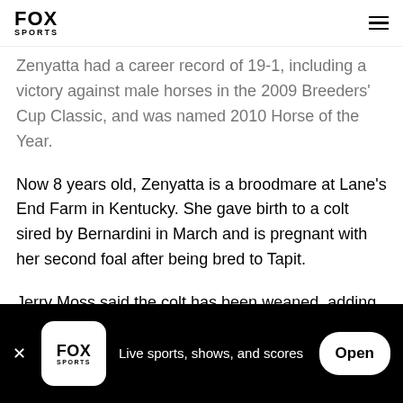FOX SPORTS
Zenyatta had a career record of 19-1, including a victory against male horses in the 2009 Breeders' Cup Classic, and was named 2010 Horse of the Year.
Now 8 years old, Zenyatta is a broodmare at Lane's End Farm in Kentucky. She gave birth to a colt sired by Bernardini in March and is pregnant with her second foal after being bred to Tapit.
Jerry Moss said the colt has been weaned, adding,
FOX SPORTS — Live sports, shows, and scores — Open